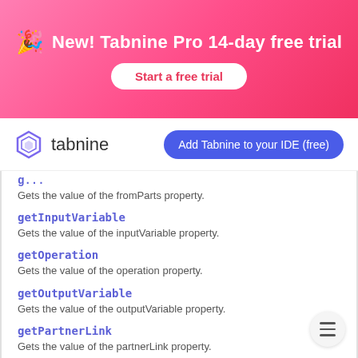[Figure (infographic): Tabnine Pro 14-day free trial promotional banner with gradient pink/red background, party popper icon, title text, and a 'Start a free trial' button]
[Figure (logo): Tabnine logo (hexagonal icon) with wordmark 'tabnine' and 'Add Tabnine to your IDE (free)' button]
Gets the value of the fromParts property.
getInputVariable
Gets the value of the inputVariable property.
getOperation
Gets the value of the operation property.
getOutputVariable
Gets the value of the outputVariable property.
getPartnerLink
Gets the value of the partnerLink property.